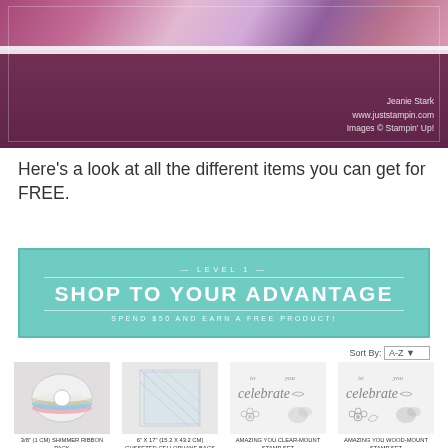[Figure (photo): Crafting/stamping project photo showing a purple card with floral design, watermark text: Jeanie Stark www.juststampin.com Images © Stampin' Up!]
Here's a look at all the different items you can get for FREE.
[Figure (infographic): Teal banner reading LEVEL 1 / SHOP TO YOUR ADVANTAGE / SPEND $50 AND EARN A FREE PRODUCT!]
Sort By: A-Z
[Figure (photo): 3/8" (1 CM) Shimmer Ribbon Pack - coils of shimmer ribbon in pink, blue, orange]
3/8" (1 CM) SHIMMER RIBBON PACK
Price: $0.00
[Figure (photo): 6" X 17" (15.2 X 43.2 CM) Gusseted Cellophane Bags - clear plastic bags]
6" X 17" (15.2 X 43.2 CM) GUSSETED CELLOPHANE BAGS
Price: $0.00
[Figure (photo): Amazing You Clear-Mount Stamp Set - stamp images]
AMAZING YOU CLEAR-MOUNT STAMP SET
Price: $0.00
[Figure (photo): Amazing You Wood-Mount Stamp Set - stamp images]
AMAZING YOU WOOD-MOUNT STAMP SET
Price: $0.00